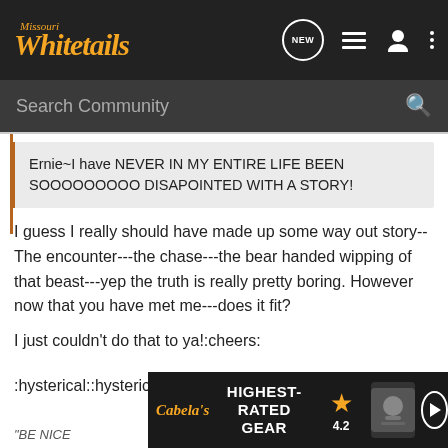[Figure (logo): Missouri Whitetails logo in orange italic script on dark background]
Search Community
Ernie~I have NEVER IN MY ENTIRE LIFE BEEN SOOOOOOOOO DISAPOINTED WITH A STORY!
I guess I really should have made up some way out story--The encounter---the chase---the bear handed wipping of that beast---yep the truth is really pretty boring. However now that you have met me---does it fit?
I just couldn't do that to ya!:cheers:
:hysterical::hysterical::hysterical:
[Figure (screenshot): Cabela's Highest-Rated Gear advertisement banner with star rating 4.2 and play button]
"BE NICE